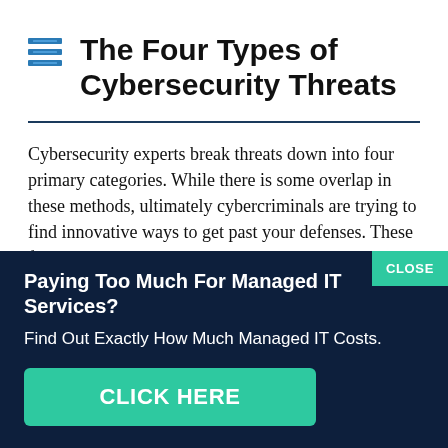The Four Types of Cybersecurity Threats
Cybersecurity experts break threats down into four primary categories. While there is some overlap in these methods, ultimately cybercriminals are trying to find innovative ways to get past your defenses. These four corners must be considered in any cybersecurity
[Figure (infographic): Ad banner with dark navy background. Headline: 'Paying Too Much For Managed IT Services?' Subtext: 'Find Out Exactly How Much Managed IT Costs.' Green CTA button: 'CLICK HERE'. Green 'CLOSE' button top-right.]